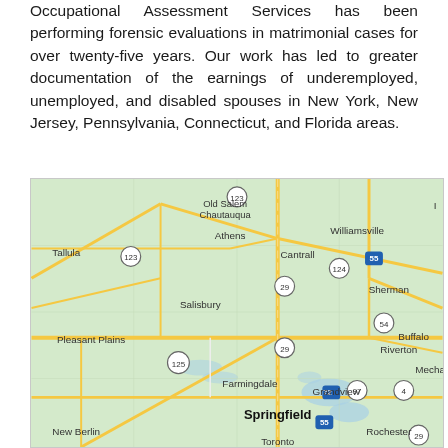Occupational Assessment Services has been performing forensic evaluations in matrimonial cases for over twenty-five years. Our work has led to greater documentation of the earnings of underemployed, unemployed, and disabled spouses in New York, New Jersey, Pennsylvania, Connecticut, and Florida areas.
[Figure (map): Google Maps style road map showing Springfield, Illinois area with surrounding towns including Old Salem Chautauqua, Athens, Williamsville, Tallula, Cantrall, Sherman, Salisbury, Pleasant Plains, Riverton, Buffalo, Farmingdale, Grandview, Springfield, Rochester, New Berlin, Toronto, and route numbers 123, 124, 29, 55, 54, 125, 97, 4, 72, 29.]